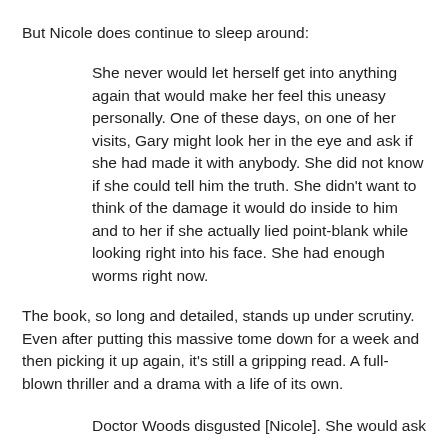But Nicole does continue to sleep around:
She never would let herself get into anything again that would make her feel this uneasy personally. One of these days, on one of her visits, Gary might look her in the eye and ask if she had made it with anybody. She did not know if she could tell him the truth. She didn’t want to think of the damage it would do inside to him and to her if she actually lied point-blank while looking right into his face. She had enough worms right now.
The book, so long and detailed, stands up under scrutiny. Even after putting this massive tome down for a week and then picking it up again, it's still a gripping read. A full-blown thriller and a drama with a life of its own.
Doctor Woods disgusted [Nicole]. She would ask